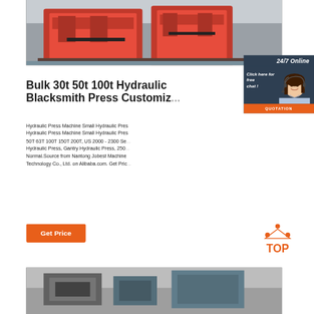[Figure (photo): Photograph of a large red hydraulic press machine on a pallet, viewed from the side/front, industrial setting.]
Bulk 30t 50t 100t Hydraulic Blacksmith Press Customiza
Hydraulic Press Machine Small Hydraulic Press Hydraulic Press Machine Small Hydraulic Press 50T 63T 100T 150T 200T, US 2000 - 2300 Se... Hydraulic Press, Gantry Hydraulic Press, 250... Normal.Source from Nantong Jobest Machine Technology Co., Ltd. on Alibaba.com. Get Price
[Figure (infographic): 24/7 Online chat widget with a female customer service agent wearing a headset, dark blue background, 'Click here for free chat!' text, and an orange QUOTATION button.]
Get Price
[Figure (logo): TOP icon with orange triangle/dots above the word TOP in orange.]
[Figure (photo): Partial photograph at the bottom of the page showing another industrial machine or press in black and white/grayscale.]